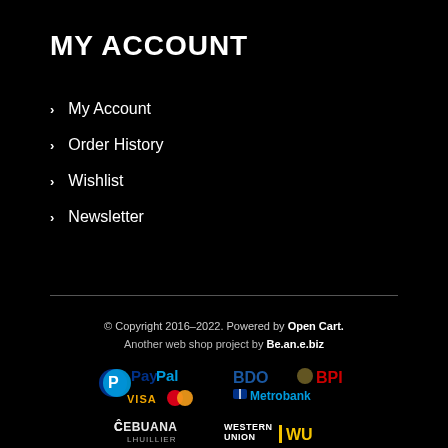MY ACCOUNT
My Account
Order History
Wishlist
Newsletter
© Copyright 2016–2022. Powered by Open Cart. Another web shop project by Be.an.e.biz
[Figure (logo): Payment method logos: PayPal, Visa, Mastercard, BDO, BPI, Metrobank, Cebuana Lhuillier, Western Union, LBC, Palawan Pera Padala, MLhuillier ML Kwarta Padala]